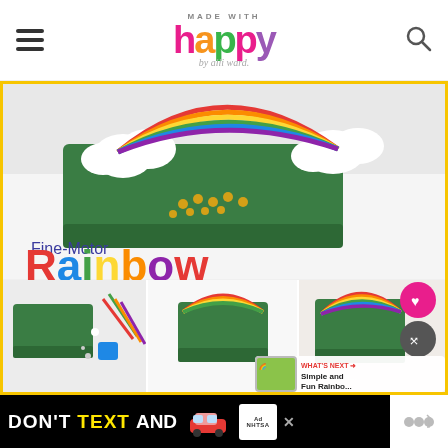MADE WITH happy by alli ward.
[Figure (photo): Collage of Fine-Motor Rainbow craft activity screenshots showing green foam block with pipe cleaners forming rainbow arches, cotton ball clouds, and gold coins. Text overlay reads 'Fine-Motor Rainbow' in colorful letters. Four-panel collage at bottom with steps. 'What's Next' overlay shows 'Simple and Fun Rainbo...']
[Figure (infographic): Advertisement banner: 'DON'T TEXT AND' in black/yellow/cyan bold text on black background, with a red car icon and NHTSA ad badge. Close button (X) visible. Widget icon on right.]